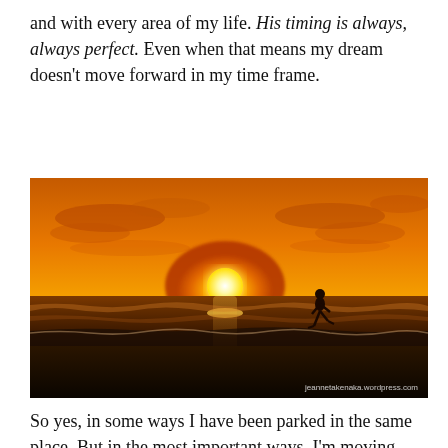and with every area of my life. His timing is always, always perfect. Even when that means my dream doesn't move forward in my time frame.
[Figure (photo): A person running along a beach at sunset. The sky is a warm orange and yellow gradient with the sun on the horizon over the ocean. A lone silhouetted figure of a jogger is visible in the lower right portion of the image. Watermark reads jeannetakenaka.wordpress.com]
So yes, in some ways I have been parked in the same place. But in the most important ways, I'm moving